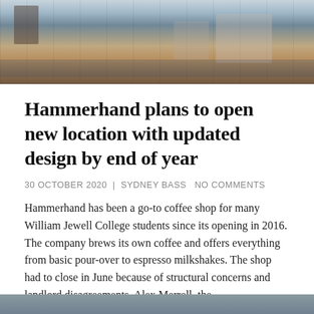[Figure (photo): Interior of a coffee shop showing espresso machines, equipment, and bar area]
Hammerhand plans to open new location with updated design by end of year
30 OCTOBER 2020 | SYDNEY BASS  NO COMMENTS
Hammerhand has been a go-to coffee shop for many William Jewell College students since its opening in 2016. The company brews its own coffee and offers everything from basic pour-over to espresso milkshakes. The shop had to close in June because of structural concerns and landlord disagreements. Alex Merrell, the...
READ MORE
[Figure (photo): Partially visible photo at bottom of page]